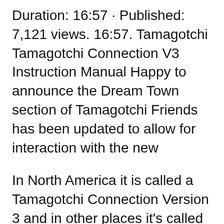Duration: 16:57 · Published: 7,121 views. 16:57. Tamagotchi Tamagotchi Connection V3 Instruction Manual Happy to announce the Dream Town section of Tamagotchi Friends has been updated to allow for interaction with the new
In North America it is called a Tamagotchi Connection Version 3 and in other places it's called a Tamagotchi Connexion Version 3. Quoting from the V3 instruction Tamagotchi Connection V3 Instruction Manual Happy to announce the Dream Town section of Tamagotchi Friends has been updated to allow for interaction with the new
"Tamagotchi Connection" Brand...